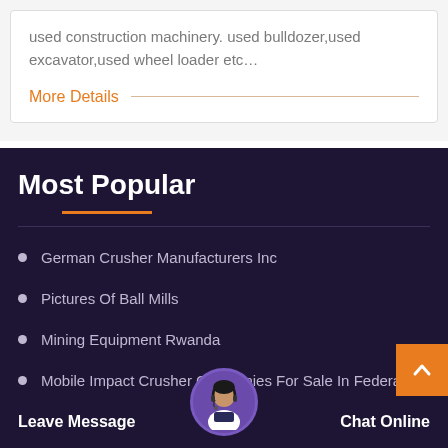used construction machinery. used bulldozer,used excavator,used wheel loader etc...
More Details
Most Popular
German Crusher Manufacturers Inc
Pictures Of Ball Mills
Mining Equipment Rwanda
Mobile Impact Crusher Companies For Sale In Federal T
Dust Collector Flour Mac...baba In...ory Coast
Leave Message
Chat Online